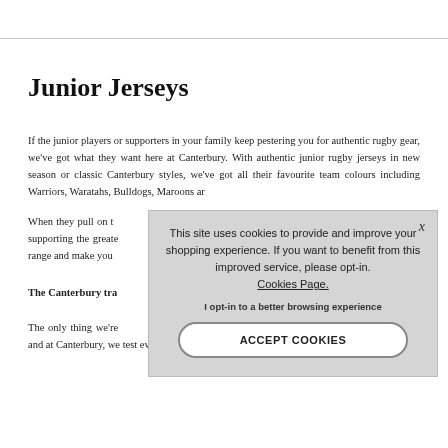Junior Jerseys
If the junior players or supporters in your family keep pestering you for authentic rugby gear, we've got what they want here at Canterbury. With authentic junior rugby jerseys in new season or classic Canterbury styles, we've got all their favourite team colours including Warriors, Waratahs, Bulldogs, Maroons ar...
When they pull on t... Canterbury tradition... supporting the greate... edge fabric technolo... range and make you... Canterbury.
The Canterbury tra...
The only thing we're... quality of our clothing range and at Canterbury, we test every garment
[Figure (screenshot): Cookie consent popup overlay with text 'This site uses cookies to provide and improve your shopping experience. If you want to benefit from this improved service, please opt-in. Cookies Page.' and a bold opt-in line 'I opt-in to a better browsing experience' and an ACCEPT COOKIES button.]